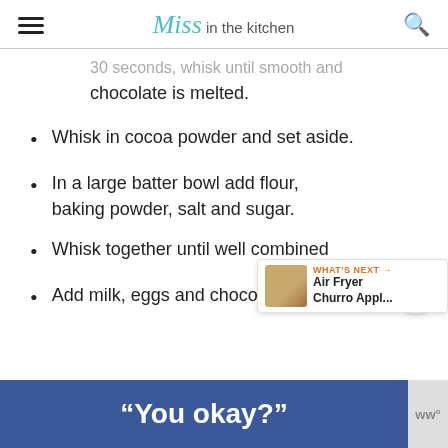Miss in the kitchen
30 seconds, whisk until smooth and chocolate is melted.
Whisk in cocoa powder and set aside.
In a large batter bowl add flour, baking powder, salt and sugar.
Whisk together until well combined
Add milk, eggs and chocolate
"You okay?"